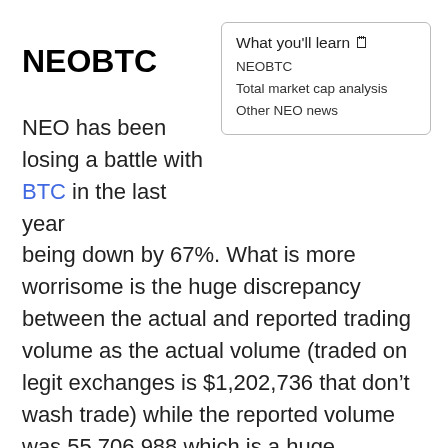NEOBTC
What you'll learn 🗒
NEOBTC
Total market cap analysis
Other NEO news
NEO has been losing a battle with BTC in the last year being down by 67%. What is more worrisome is the huge discrepancy between the actual and reported trading volume as the actual volume (traded on legit exchanges is $1,202,736 that don't wash trade) while the reported volume was 55,706,988 which is a huge overstatement of 55x.
The chart shows NEO forming a symmetrical triangle pattern which is a chart pattern